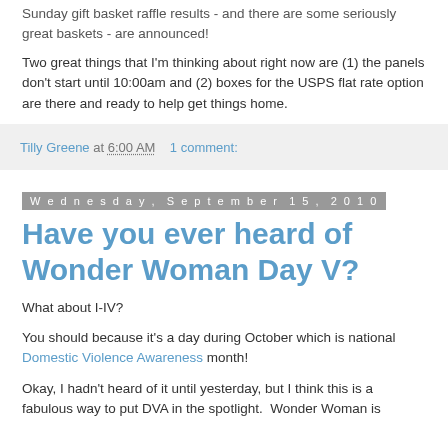Sunday gift basket raffle results - and there are some seriously great baskets - are announced!
Two great things that I'm thinking about right now are (1) the panels don't start until 10:00am and (2) boxes for the USPS flat rate option are there and ready to help get things home.
Tilly Greene at 6:00 AM    1 comment:
Wednesday, September 15, 2010
Have you ever heard of Wonder Woman Day V?
What about I-IV?
You should because it's a day during October which is national Domestic Violence Awareness month!
Okay, I hadn't heard of it until yesterday, but I think this is a fabulous way to put DVA in the spotlight.  Wonder Woman is